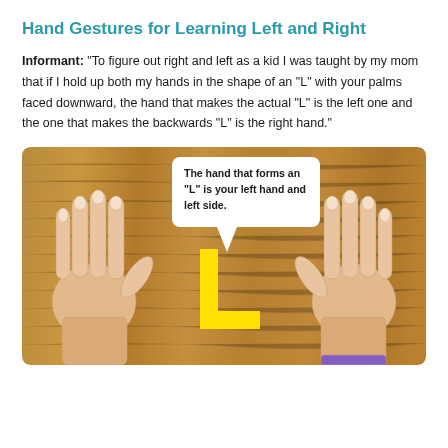Hand Gestures for Learning Left and Right
Informant: “To figure out right and left as a kid I was taught by my mom that if I hold up both my hands in the shape of an “L” with your palms faced downward, the hand that makes the actual “L” is the left one and the one that makes the backwards “L” is the right hand.”
[Figure (photo): Two hands placed palm-down on a wooden surface forming L shapes. A yellow L shape is overlaid between the hands. A speech bubble reads: The hand that forms an “L” is your left hand and left side.]